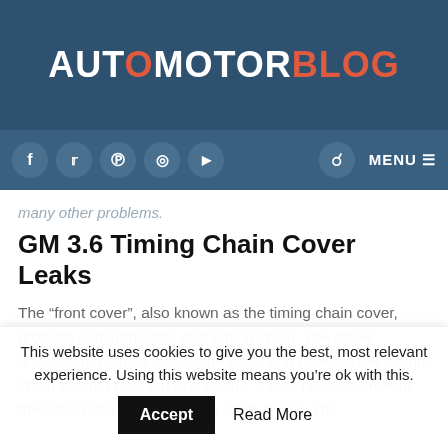AUTOMOTORBLOG
many other problems.
GM 3.6 Timing Chain Cover Leaks
The “front cover”, also known as the timing chain cover, protects and lubricates your timing chain. The cover attaches directly to the engine block and protects the timing chain against road dirt and debris. It also helps to prevent the timing chain from slipping off its gears. The
This website uses cookies to give you the best, most relevant experience. Using this website means you’re ok with this.